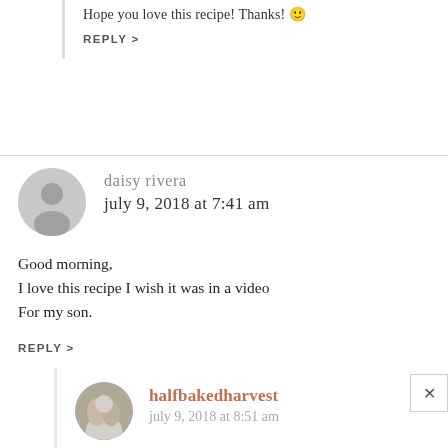Hope you love this recipe! Thanks! 🙂
REPLY >
daisy rivera
july 9, 2018 at 7:41 am
Good morning,
I love this recipe I wish it was in a video
For my son.
REPLY >
halfbakedharvest
july 9, 2018 at 8:51 am
Thank you Daisy...